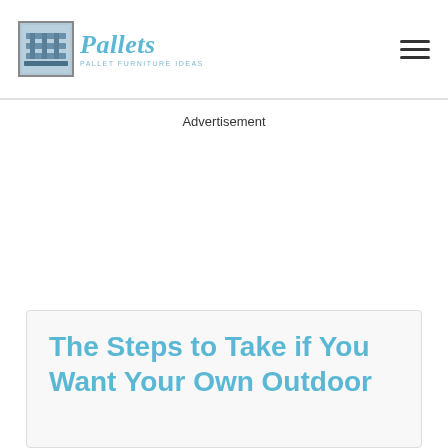Pallets — PALLET FURNITURE IDEAS
Advertisement
The Steps to Take if You Want Your Own Outdoor